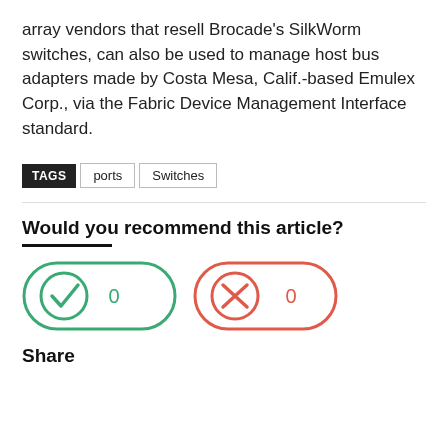array vendors that resell Brocade's SilkWorm switches, can also be used to manage host bus adapters made by Costa Mesa, Calif.-based Emulex Corp., via the Fabric Device Management Interface standard.
TAGS  ports  Switches
Would you recommend this article?
[Figure (infographic): Two voting buttons: a green rounded pill with a checkmark icon and the number 0, and a red/pink rounded pill with an X icon and the number 0.]
Share